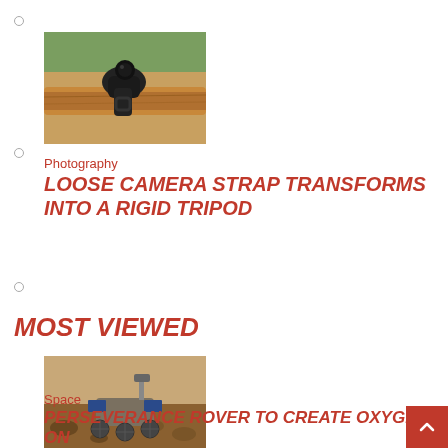[Figure (photo): A camera strap clip/mount attached to a wooden rail or bar, outdoors with trees in background]
Photography
LOOSE CAMERA STRAP TRANSFORMS INTO A RIGID TRIPOD
MOST VIEWED
[Figure (photo): Mars rover Perseverance on the Martian surface with rocky terrain]
Space
PERSEVERANCE ROVER TO CREATE OXYGEN ON